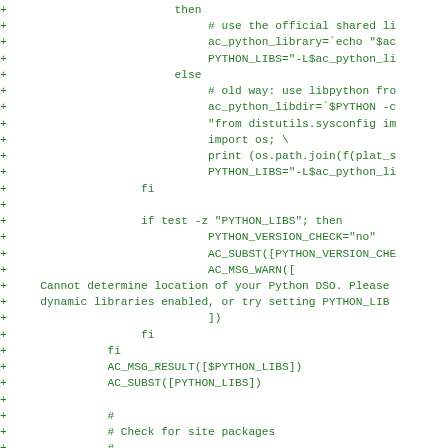[Figure (screenshot): Code diff fragment showing shell script additions (lines prefixed with '+') in green monospace font, containing Python library detection and AC_MSG macros]